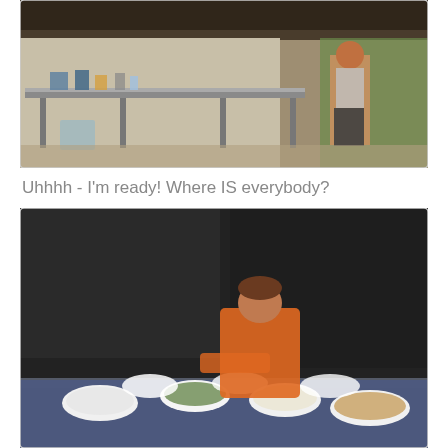[Figure (photo): An open-air kitchen under a thatched roof. A man in a gray tank top and dark shorts stands smiling near stainless steel prep tables lined with containers, bottles, and kitchen supplies. Trees/outdoor area visible in background.]
Uhhhh - I'm ready! Where IS everybody?
[Figure (photo): A person in an orange shirt leaning over a long table set with multiple white bowls and plates of food with various dishes. The room is dimly lit and dark in the background.]